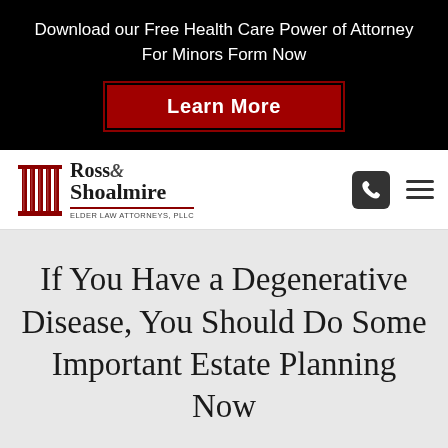Download our Free Health Care Power of Attorney For Minors Form Now
Learn More
[Figure (logo): Ross & Shoalmire Elder Law Attorneys, PLLC logo with red pillar column graphic]
If You Have a Degenerative Disease, You Should Do Some Important Estate Planning Now